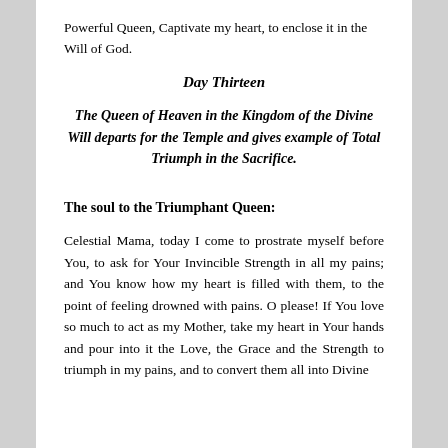Powerful Queen, Captivate my heart, to enclose it in the Will of God.
Day Thirteen
The Queen of Heaven in the Kingdom of the Divine Will departs for the Temple and gives example of Total Triumph in the Sacrifice.
The soul to the Triumphant Queen:
Celestial Mama, today I come to prostrate myself before You, to ask for Your Invincible Strength in all my pains; and You know how my heart is filled with them, to the point of feeling drowned with pains. O please! If You love so much to act as my Mother, take my heart in Your hands and pour into it the Love, the Grace and the Strength to triumph in my pains, and to convert them all into Divine